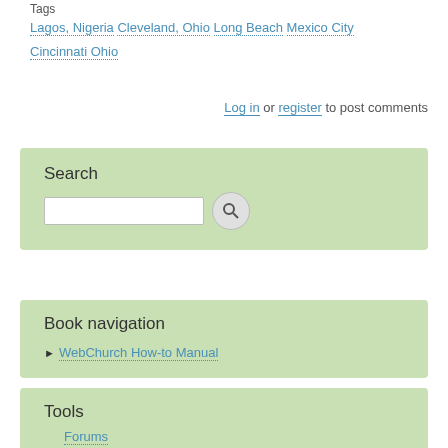Tags
Lagos, Nigeria  Cleveland, Ohio  Long Beach  Mexico City  Cincinnati Ohio
Log in or register to post comments
Search
[search box]
Book navigation
WebChurch How-to Manual
Tools
Forums
You Are Welcome